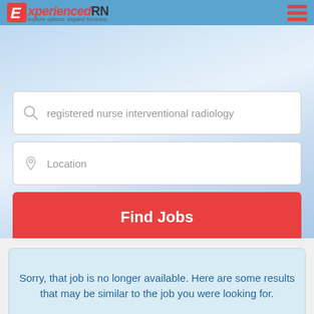[Figure (logo): ExperiencedRN logo with red E icon and tagline]
[Figure (screenshot): Hamburger menu icon (three horizontal red bars) in top right corner]
registered nurse interventional radiology
Location
Find Jobs
Sorry, that job is no longer available. Here are some results that may be similar to the job you were looking for.